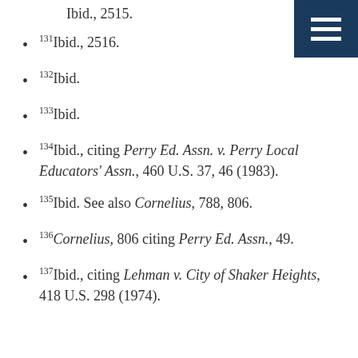Ibid., 2515.
131Ibid., 2516.
132Ibid.
133Ibid.
134Ibid., citing Perry Ed. Assn. v. Perry Local Educators' Assn., 460 U.S. 37, 46 (1983).
135Ibid. See also Cornelius, 788, 806.
136Cornelius, 806 citing Perry Ed. Assn., 49.
137Ibid., citing Lehman v. City of Shaker Heights, 418 U.S. 298 (1974).